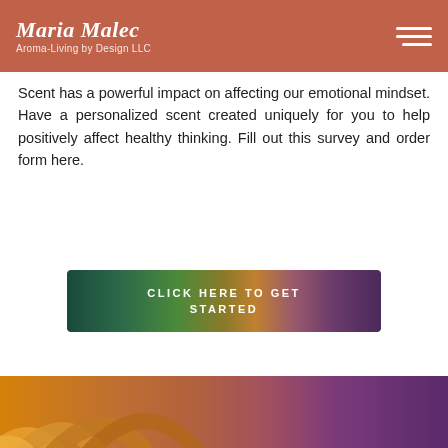Maria Malec Aroma-Living by Design LLC
Scent has a powerful impact on affecting our emotional mindset. Have a personalized scent created uniquely for you to help positively affect healthy thinking. Fill out this survey and order form here.
[Figure (other): Gradient colored button with text CLICK HERE TO GET STARTED, featuring a horizontal gradient from dark teal/green on the left, through green, orange/yellow in center, to purple on the right.]
[Figure (other): Bottom decorative strip with orange/gold ripple arc shapes on the left side and a gradient from orange to purple on the right side.]